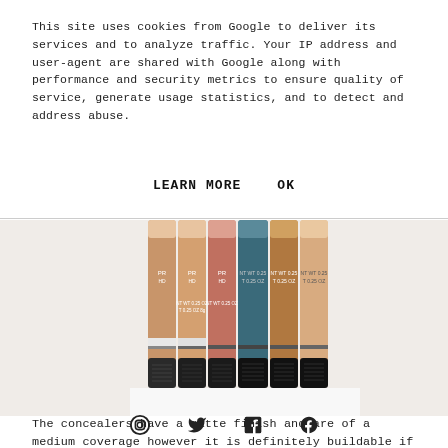This site uses cookies from Google to deliver its services and to analyze traffic. Your IP address and user-agent are shared with Google along with performance and security metrics to ensure quality of service, generate usage statistics, and to detect and address abuse.
LEARN MORE    OK
[Figure (photo): Multiple LA Girl Pro HD concealer sticks fanned out showing various shades, viewed from the top down with black caps visible.]
The concealers have a matte finish and are of a medium coverage however it is definitely buildable if needed. They blend so flawless with a beautyblender. They claim to be 'crease-resistant' however for me, I always have the one annoying crease line under each eye that is forever there so it doesn't really bother me. The concealer itself is
○  ✓  ℗  f